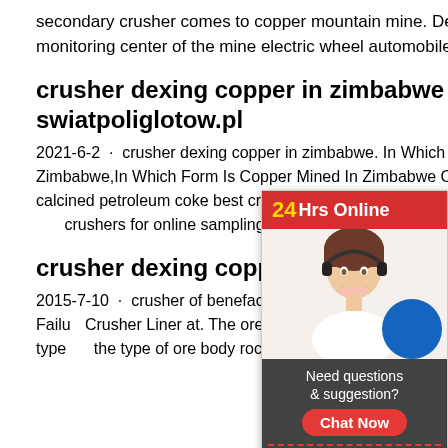secondary crusher comes to copper mountain mine. Dexing copper mine equipment monitoring center of the mine electric wheel automobile engine r170 electric.
crusher dexing copper in zimbabwe - swiatpoliglotow.pl
2021-6-2 · crusher dexing copper in zimbabwe. In Which Form Is Copper Mined In Zimbabwe,In Which Form Is Copper Mined In Zimbabwe Calcined pet crushers calcined petroleum coke best cr unit calcined petroleum coke best crushe crushers for online sampling in low tonna 1998 companys first calcining ...
crusher dexing copper
2015-7-10 · crusher of benefaction copp jugend-treff.ch Analysis of the Wear Failu Crusher Liner at. The ore in the Dexing C be divided into porphyry and phyllite-type the type of ore body rock. The ratio of ore